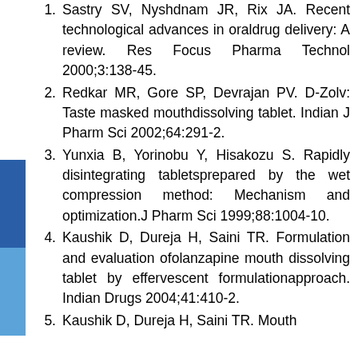Sastry SV, Nyshdnam JR, Rix JA. Recent technological advances in oraldrug delivery: A review. Res Focus Pharma Technol 2000;3:138-45.
Redkar MR, Gore SP, Devrajan PV. D-Zolv: Taste masked mouthdissolving tablet. Indian J Pharm Sci 2002;64:291-2.
Yunxia B, Yorinobu Y, Hisakozu S. Rapidly disintegrating tabletsprepared by the wet compression method: Mechanism and optimization.J Pharm Sci 1999;88:1004-10.
Kaushik D, Dureja H, Saini TR. Formulation and evaluation ofolanzapine mouth dissolving tablet by effervescent formulationapproach. Indian Drugs 2004;41:410-2.
Kaushik D, Dureja H, Saini TR. Mouth...